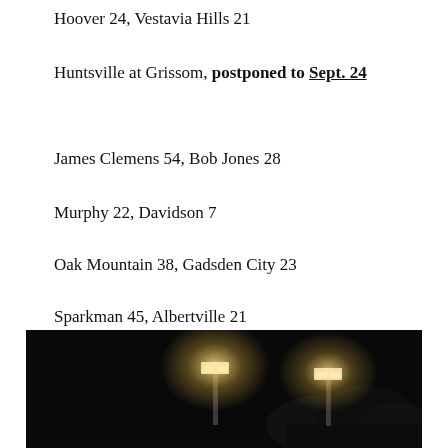Hoover 24, Vestavia Hills 21
Huntsville at Grissom, postponed to Sept. 24
James Clemens 54, Bob Jones 28
Murphy 22, Davidson 7
Oak Mountain 38, Gadsden City 23
Sparkman 45, Albertville 21
Theodore 28, Alma Bryant 0
Thompson 49, Tuscaloosa County 7
[Figure (photo): Night photo of stadium lights illuminating a dark sky with trees in the background]